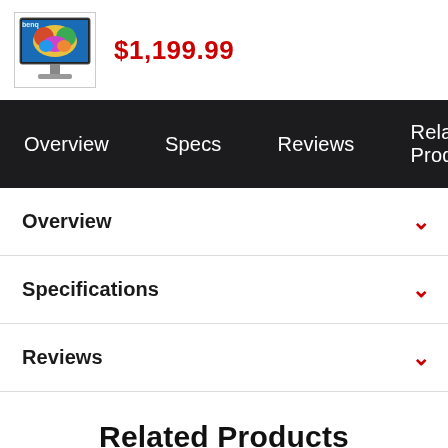[Figure (photo): BenQ monitor product thumbnail image]
$1,199.99
Overview   Specs   Reviews   Related Prod
Overview
Specifications
Reviews
Related Products